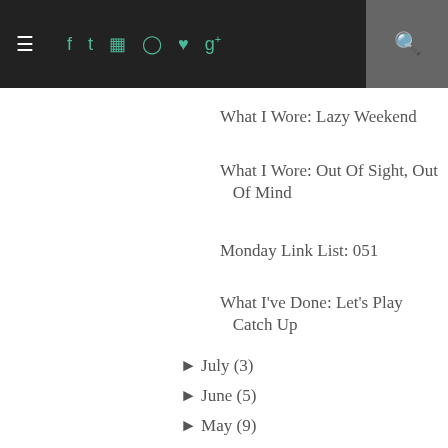≡  f  t  ⊡  ⊙  ♥  g+  🔍
What I Wore: Lazy Weekend
What I Wore: Out Of Sight, Out Of Mind
Monday Link List: 051
What I've Done: Let's Play Catch Up
► July (3)
► June (5)
► May (9)
► April (13)
► March (7)
► February (10)
► January (17)